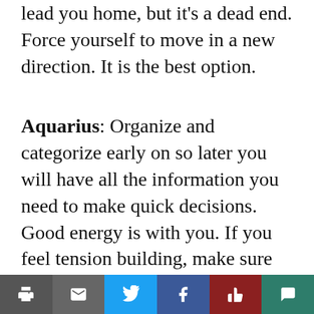lead you home, but it's a dead end. Force yourself to move in a new direction. It is the best option.
Aquarius: Organize and categorize early on so later you will have all the information you need to make quick decisions. Good energy is with you. If you feel tension building, make sure you are not taking on too much.
Pisces: Being uptight about revamping something and going over old ground is not the correct attitude. When you read over and correct your work, only improvements can be expected. Strive to do your greatest. In the end you will see